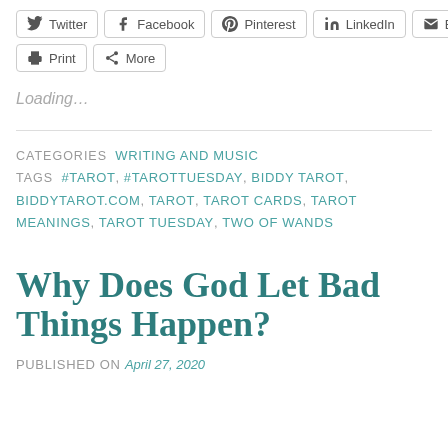Twitter, Facebook, Pinterest, LinkedIn, Email (social share buttons)
Print, More (additional share buttons)
Loading…
CATEGORIES  WRITING AND MUSIC
TAGS  #TAROT, #TAROTTUESDAY, BIDDY TAROT, BIDDYTAROT.COM, TAROT, TAROT CARDS, TAROT MEANINGS, TAROT TUESDAY, TWO OF WANDS
Why Does God Let Bad Things Happen?
PUBLISHED ON April 27, 2020